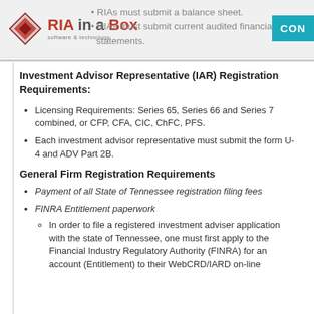RIA in a Box - Software & Technology
RIAs must submit a balance sheet. RIAs must submit current audited financial statements.
Investment Advisor Representative (IAR) Registration Requirements:
Licensing Requirements: Series 65, Series 66 and Series 7 combined, or CFP, CFA, CIC, ChFC, PFS.
Each investment advisor representative must submit the form U-4 and ADV Part 2B.
General Firm Registration Requirements
Payment of all State of Tennessee registration filing fees
FINRA Entitlement paperwork
In order to file a registered investment adviser application with the state of Tennessee, one must first apply to the Financial Industry Regulatory Authority (FINRA) for an account (Entitlement) to their WebCRD/IARD on-line